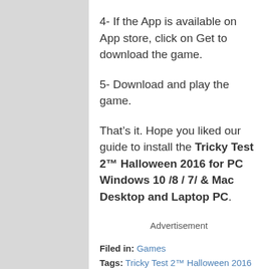4- If the App is available on App store, click on Get to download the game.
5- Download and play the game.
That's it. Hope you liked our guide to install the Tricky Test 2™ Halloween 2016 for PC Windows 10 /8 / 7/ & Mac Desktop and Laptop PC.
Advertisement
Filed in: Games
Tags: Tricky Test 2™ Halloween 2016 for Computers, Tricky Test 2™ Halloween 2016 for Desktop, Tricky Test 2™ Halloween 2016 for Mac,